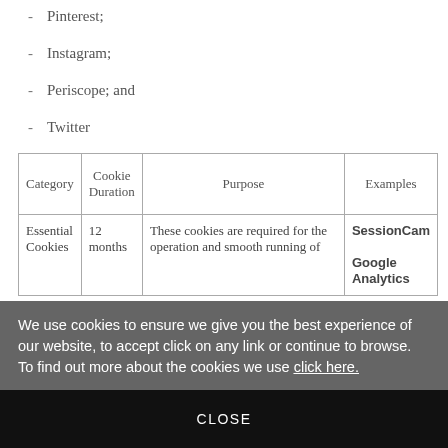- Pinterest;
- Instagram;
- Periscope; and
- Twitter
| Category | Cookie Duration | Purpose | Examples |
| --- | --- | --- | --- |
| Essential Cookies | 12 months | These cookies are required for the operation and smooth running of your site th... | SessionCam

Google Analytics |
We use cookies to ensure we give you the best experience of our website, to accept click on any link or continue to browse. To find out more about the cookies we use click here.